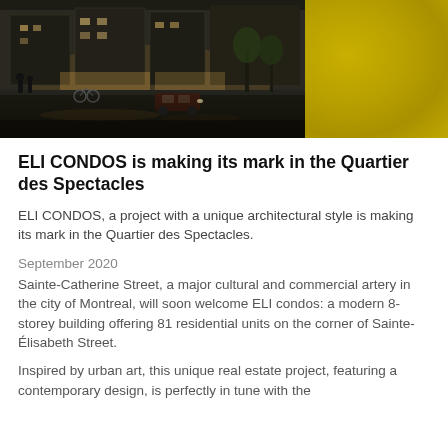[Figure (photo): Street-level rendering of ELI CONDOS building on Sainte-Catherine Street at dusk with cyclists and pedestrians; adjacent yellow textured panel]
ELI CONDOS is making its mark in the Quartier des Spectacles
ELI CONDOS, a project with a unique architectural style is making its mark in the Quartier des Spectacles.
September 2020
Sainte-Catherine Street, a major cultural and commercial artery in the city of Montreal, will soon welcome ELI condos: a modern 8-storey building offering 81 residential units on the corner of Sainte-Élisabeth Street.
Inspired by urban art, this unique real estate project, featuring a contemporary design, is perfectly in tune with the